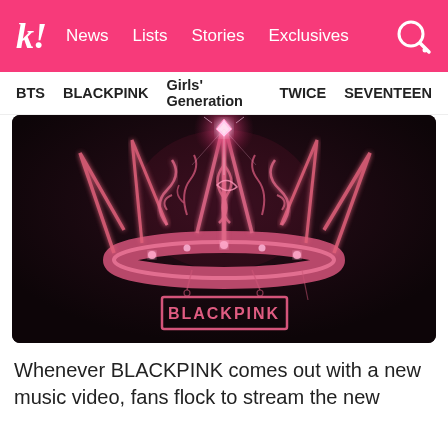k! News Lists Stories Exclusives
BTS BLACKPINK Girls' Generation TWICE SEVENTEEN
[Figure (illustration): BLACKPINK logo over a dark background featuring a pink ornate crown with glowing gem on top. BLACKPINK wordmark in a pink rectangular border at the bottom center of the image.]
Whenever BLACKPINK comes out with a new music video, fans flock to stream the new